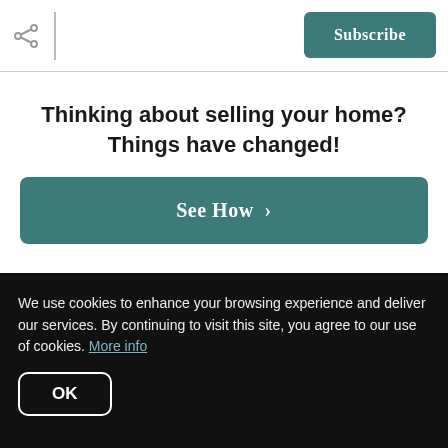Subscribe
Thinking about selling your home? Things have changed!
[Figure (other): See How > button — teal/dark green rounded rectangle CTA button]
shove-type situations. If you're serious about coming up with your down payment funds,
We use cookies to enhance your browsing experience and deliver our services. By continuing to visit this site, you agree to our use of cookies. More info
OK